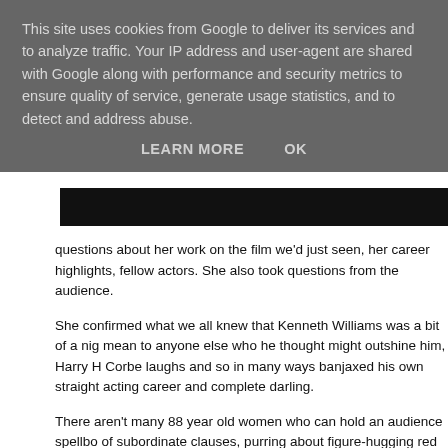This site uses cookies from Google to deliver its services and to analyze traffic. Your IP address and user-agent are shared with Google along with performance and security metrics to ensure quality of service, generate usage statistics, and to detect and address abuse.
LEARN MORE    OK
[Figure (photo): Dark image strip, partial view of a film scene]
questions about her work on the film we'd just seen, her career highlights, fellow actors. She also took questions from the audience.
She confirmed what we all knew that Kenneth Williams was a bit of a nightmare, mean to anyone else who he thought might outshine him, Harry H Corbett loved laughs and so in many ways banjaxed his own straight acting career and was a complete darling.
There aren't many 88 year old women who can hold an audience spellbound, a torrent of subordinate clauses, purring about figure-hugging red velvet dresses and how they just don't hold back the truth when they are tired.
A funny film, a great woman, a top night.